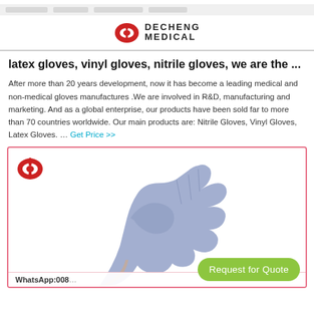DECHENG MEDICAL
latex gloves, vinyl gloves, nitrile gloves, we are the ...
After more than 20 years development, now it has become a leading medical and non-medical gloves manufactures .We are involved in R&D, manufacturing and marketing. And as a global enterprise, our products have been sold far to more than 70 countries worldwide. Our main products are: Nitrile Gloves, Vinyl Gloves, Latex Gloves. … Get Price >>
[Figure (photo): Blue nitrile medical glove shown on a hand against a white background, inside a pink-bordered product card with Decheng Medical logo in corner. WhatsApp contact number partially visible at bottom.]